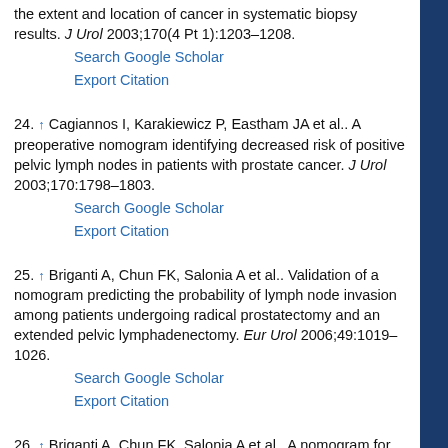the extent and location of cancer in systematic biopsy results. J Urol 2003;170(4 Pt 1):1203–1208.
Search Google Scholar | Export Citation
24. ↑ Cagiannos I, Karakiewicz P, Eastham JA et al.. A preoperative nomogram identifying decreased risk of positive pelvic lymph nodes in patients with prostate cancer. J Urol 2003;170:1798–1803.
Search Google Scholar | Export Citation
25. ↑ Briganti A, Chun FK, Salonia A et al.. Validation of a nomogram predicting the probability of lymph node invasion among patients undergoing radical prostatectomy and an extended pelvic lymphadenectomy. Eur Urol 2006;49:1019–1026.
Search Google Scholar | Export Citation
26. ↑ Briganti A, Chun FK, Salonia A et al.. A nomogram for staging of exclusive nonobturator...